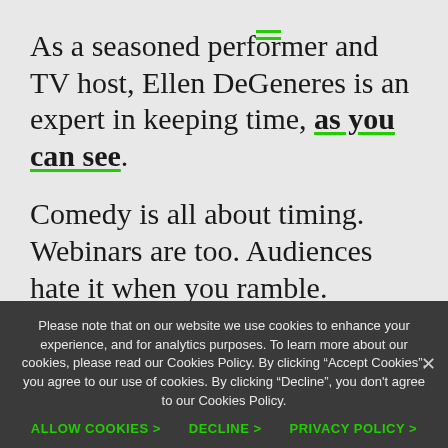As a seasoned performer and TV host, Ellen DeGeneres is an expert in keeping time, as you can see.
Comedy is all about timing. Webinars are too. Audiences hate it when you ramble. Respect their time and they'll stay until the end and come to your next one too.
Keep your timing tight. As always it starts
Please note that on our website we use cookies to enhance your experience, and for analytics purposes. To learn more about our cookies, please read our Cookies Policy. By clicking "Accept Cookies", you agree to our use of cookies. By clicking "Decline", you don't agree to our Cookies Policy.
ALLOW COOKIES > DECLINE > PRIVACY POLICY >